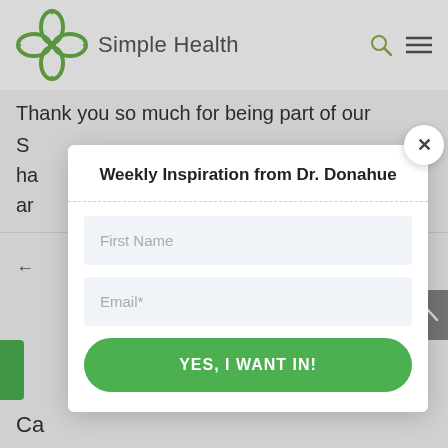[Figure (logo): Simple Health logo with green four-petal flower icon and grey 'Simple Health' text]
Thank you so much for being part of our
S
ha
ar
Weekly Inspiration from Dr. Donahue
First Name
Email*
YES, I WANT IN!
Ca